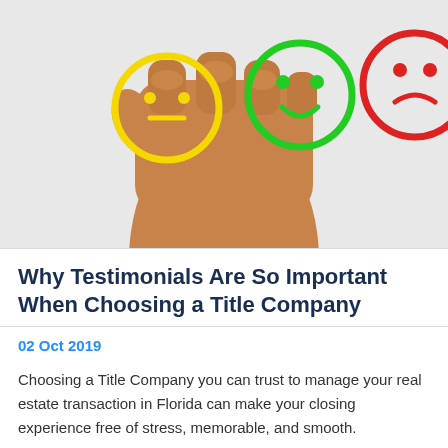[Figure (photo): A fist pointing forward with three emoji faces drawn on the knuckles: a yellow neutral/meh face on the left, a green smiley face in the middle, and a red sad face on the right.]
Why Testimonials Are So Important When Choosing a Title Company
02 Oct 2019
Choosing a Title Company you can trust to manage your real estate transaction in Florida can make your closing experience free of stress, memorable, and smooth.